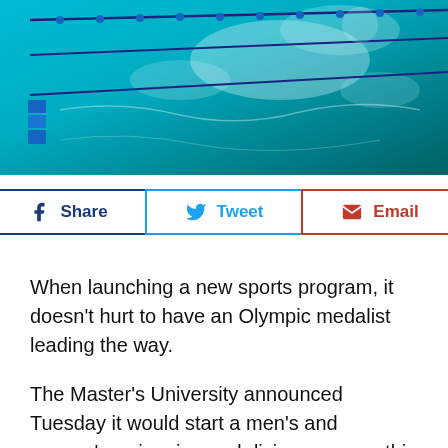[Figure (photo): Aerial view of a swimming pool with lane dividers, turquoise/teal water with light reflections]
[Figure (infographic): Social sharing buttons: Share (Facebook), Tweet (Twitter), Email]
When launching a new sports program, it doesn't hurt to have an Olympic medalist leading the way.
The Master's University announced Tuesday it would start a men's and women's swimming and diving program this fall.
And Gabe Woodward, a bronze medalist for the United States in the 400-meter freestyle relay at the